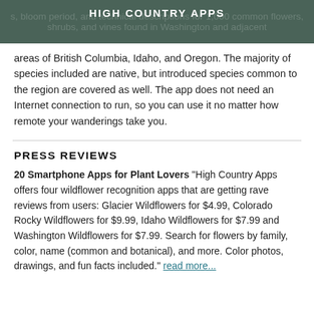HIGH COUNTRY APPS
s, bloom period, and technical descriptions for 1,000 common flowers, shrubs, and vines found in Washington and adjacent areas of British Columbia, Idaho, and Oregon. The majority of species included are native, but introduced species common to the region are covered as well. The app does not need an Internet connection to run, so you can use it no matter how remote your wanderings take you.
PRESS REVIEWS
20 Smartphone Apps for Plant Lovers "High Country Apps offers four wildflower recognition apps that are getting rave reviews from users: Glacier Wildflowers for $4.99, Colorado Rocky Wildflowers for $9.99, Idaho Wildflowers for $7.99 and Washington Wildflowers for $7.99. Search for flowers by family, color, name (common and botanical), and more. Color photos, drawings, and fun facts included." read more...